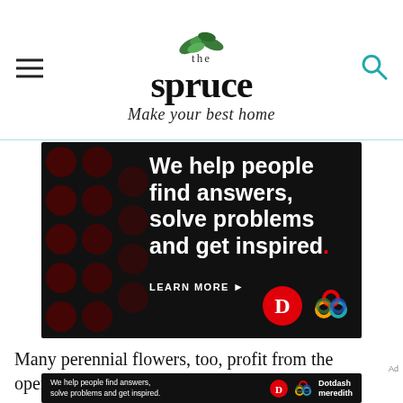the spruce — Make your best home
[Figure (infographic): Dotdash Meredith advertisement on black background with dark red polka dots. White bold text reads: We help people find answers, solve problems and get inspired. with a red period. LEARN MORE button with arrow. Dotdash 'D' logo in red circle and Meredith colorful knot logo shown.]
Many perennial flowers, too, profit from the operation. Repeat-flowering rose bushes (such
[Figure (infographic): Small Dotdash Meredith ad banner: We help people find answers, solve problems and get inspired. With Dotdash D logo and Dotdash meredith logo.]